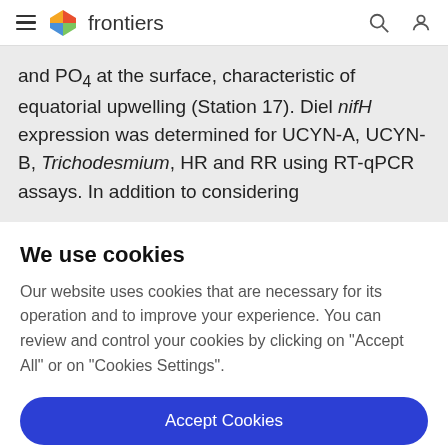frontiers
and PO4 at the surface, characteristic of equatorial upwelling (Station 17). Diel nifH expression was determined for UCYN-A, UCYN-B, Trichodesmium, HR and RR using RT-qPCR assays. In addition to considering
We use cookies
Our website uses cookies that are necessary for its operation and to improve your experience. You can review and control your cookies by clicking on "Accept All" or on "Cookies Settings".
Accept Cookies
Cookies Settings